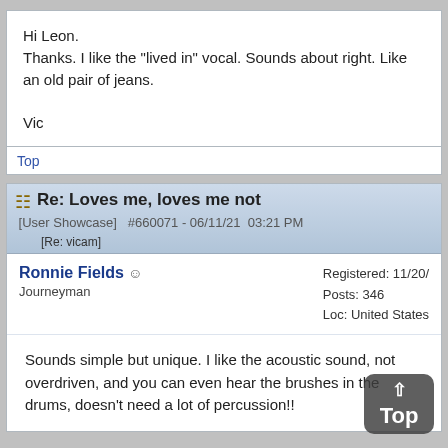Hi Leon.
Thanks. I like the "lived in" vocal. Sounds about right. Like an old pair of jeans.

Vic
Top
Re: Loves me, loves me not [Re: vicam]  [User Showcase]  #660071 - 06/11/21  03:21 PM
Ronnie Fields  Journeyman   Registered: 11/20/...  Posts: 346  Loc: United States
Sounds simple but unique. I like the acoustic sound, not overdriven, and you can even hear the brushes in the drums, doesn't need a lot of percussion!!